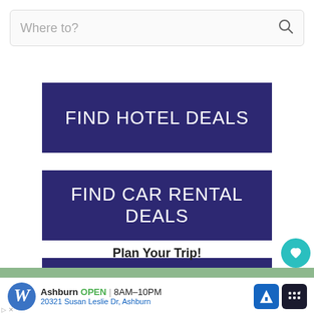[Figure (screenshot): Search bar with placeholder text 'Where to?' and a search icon on the right]
[Figure (infographic): Dark navy blue button with white text reading 'FIND HOTEL DEALS']
[Figure (infographic): Dark navy blue button with white text reading 'FIND CAR RENTAL DEALS']
[Figure (infographic): Dark navy blue button with white text reading 'FIND TOUR DEALS']
Plan Your Trip!
[Figure (screenshot): Walgreens advertisement bar showing Ashburn OPEN 8AM-10PM, 20321 Susan Leslie Dr, Ashburn]